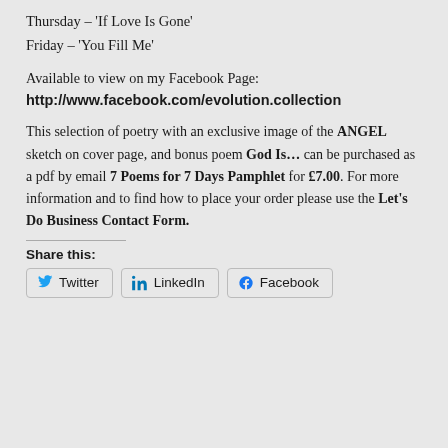Thursday – ‘If Love Is Gone’
Friday – ‘You Fill Me’
Available to view on my Facebook Page:
http://www.facebook.com/evolution.collection
This selection of poetry with an exclusive image of the ANGEL sketch on cover page, and bonus poem God Is... can be purchased as a pdf by email 7 Poems for 7 Days Pamphlet for £7.00. For more information and to find how to place your order please use the Let’s Do Business Contact Form.
Share this:
Twitter  LinkedIn  Facebook